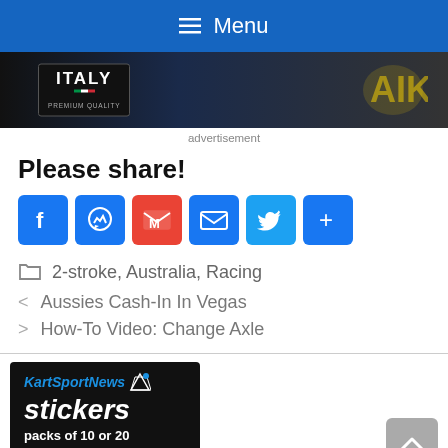Menu
[Figure (photo): Advertisement banner showing ITALY premium quality branding with motorsport/kart equipment]
advertisement
Please share!
[Figure (infographic): Social sharing buttons: Facebook, Messenger, Gmail, Email, Twitter, Share]
2-stroke, Australia, Racing
< Aussies Cash-In In Vegas
> How-To Video: Change Axle
[Figure (logo): KartSportNews stickers advertisement - packs of 10 or 20]